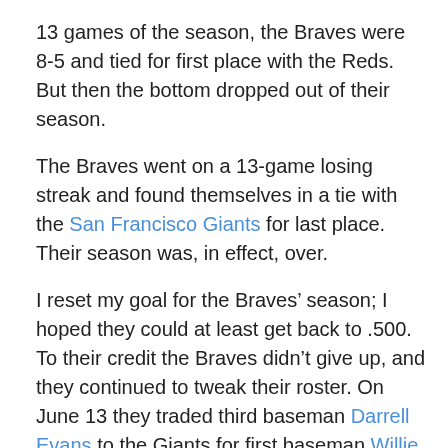13 games of the season, the Braves were 8-5 and tied for first place with the Reds. But then the bottom dropped out of their season.
The Braves went on a 13-game losing streak and found themselves in a tie with the San Francisco Giants for last place. Their season was, in effect, over.
I reset my goal for the Braves’ season; I hoped they could at least get back to .500. To their credit the Braves didn’t give up, and they continued to tweak their roster. On June 13 they traded third baseman Darrell Evans to the Giants for first baseman Willie Montañez. At the time of the trade, Evans was hitting just .173 with one home run and 10 runs batted in. After joining the Braves, Montañez played in every game and hit .321 with nine homers and 64 RBIs.